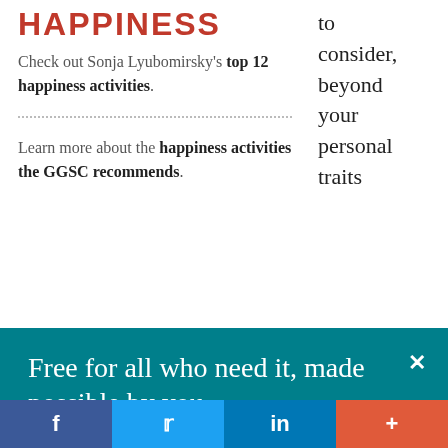HAPPINESS
Check out Sonja Lyubomirsky's top 12 happiness activities.
Learn more about the happiness activities the GGSC recommends.
to consider, beyond your personal traits
Free for all who need it, made possible by you.
Please donate to the Greater Good Science Center today.
Give Now
f  t  in  +